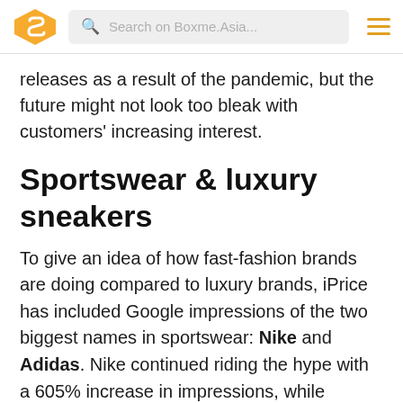Search on Boxme.Asia...
releases as a result of the pandemic, but the future might not look too bleak with customers' increasing interest.
Sportswear & luxury sneakers
To give an idea of how fast-fashion brands are doing compared to luxury brands, iPrice has included Google impressions of the two biggest names in sportswear: Nike and Adidas. Nike continued riding the hype with a 605% increase in impressions, while Adidas fell behind with 577%. It comes as no surprise that these brands are receiving attention when people are forced to stay at home and try to be physically active. As